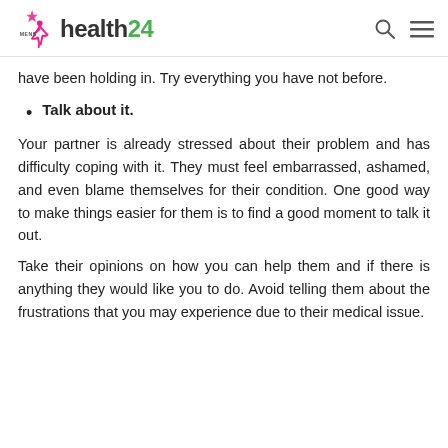MensHealth24
have been holding in. Try everything you have not before.
Talk about it.
Your partner is already stressed about their problem and has difficulty coping with it. They must feel embarrassed, ashamed, and even blame themselves for their condition. One good way to make things easier for them is to find a good moment to talk it out.
Take their opinions on how you can help them and if there is anything they would like you to do. Avoid telling them about the frustrations that you may experience due to their medical issue.